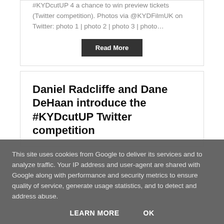#KYDcutUP 4 a chance to win preview tickets (Twitter competition). Photos via @KYDFilmUK on Twitter: photo 1 | photo 2 | photo 3 | photo…
Read More
Daniel Radcliffe and Dane DeHaan introduce the #KYDcutUP Twitter competition
This site uses cookies from Google to deliver its services and to analyze traffic. Your IP address and user-agent are shared with Google along with performance and security metrics to ensure quality of service, generate usage statistics, and to detect and address abuse.
LEARN MORE   OK